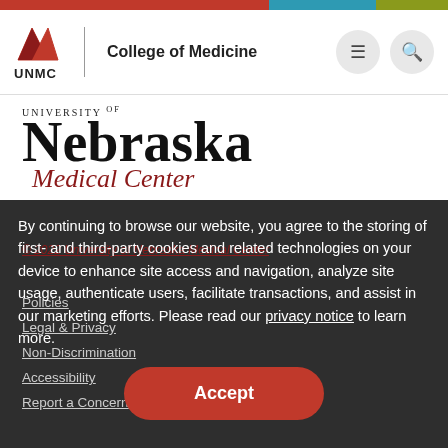UNMC | College of Medicine
[Figure (logo): University of Nebraska Medical Center logo with wordmark]
By continuing to browse our website, you agree to the storing of first- and third-party cookies and related technologies on your device to enhance site access and navigation, analyze site usage, authenticate users, facilitate transactions, and assist in our marketing efforts. Please read our privacy notice to learn more.
© 2022 University of Nebraska Medical Center
Policies
Legal & Privacy
Non-Discrimination
Accessibility
Report a Concern
Accept